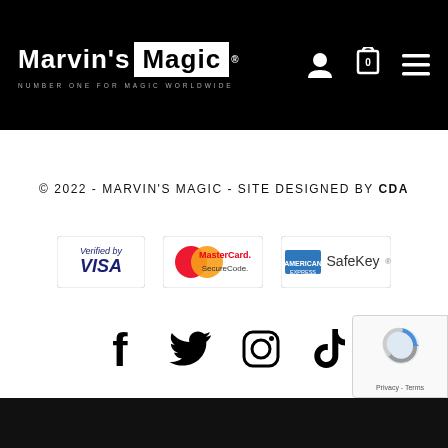Marvin's Magic - NUMBER ONE FOR MAGIC WORLDWIDE
© 2022 - MARVIN'S MAGIC - SITE DESIGNED BY CDA
[Figure (logo): Verified by VISA, MasterCard SecureCode, American Express SafeKey payment security logos]
[Figure (infographic): Social media icons: Facebook, Twitter, Instagram, TikTok]
[Figure (other): Google reCAPTCHA badge with Privacy and Terms links]